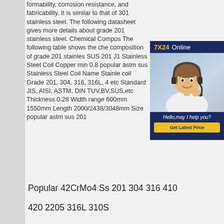formability, corrosion resistance, and fabricability. It is similar to that of 301 stainless steel. The following datasheet gives more details about grade 201 stainless steel. Chemical Composition The following table shows the chemical composition of grade 201 stainless SUS 201 J1 Stainless Steel Coil Name Copper min 0.8 popular astm sus Stainless Steel Coil Name Stainless coil Grade 201, 304, 316, 316L, 4 etc Standard JIS, AISI, ASTM, DIN, TUV,BV,SUS,etc Thickness 0.28 Width range 600mm 1550mm Length 2000/2438/3048mm Size popular astm sus 201
[Figure (other): 7X24 Online chat widget with female customer service agent wearing headset, text 'Hello,may I help you?' and 'Get Latest Price' button]
Popular 42CrMo4 Ss 201 304 316 410
420 2205 316L 310S